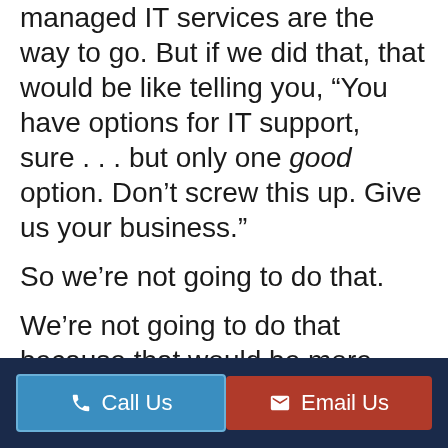managed IT services are the way to go. But if we did that, that would be like telling you, “You have options for IT support, sure . . . but only one good option. Don’t screw this up. Give us your business.”
So we’re not going to do that.
We’re not going to do that because that would be more than a little shady. It would wreck our integrity, and we’re pretty committed to shooting straight
Call Us   Email Us